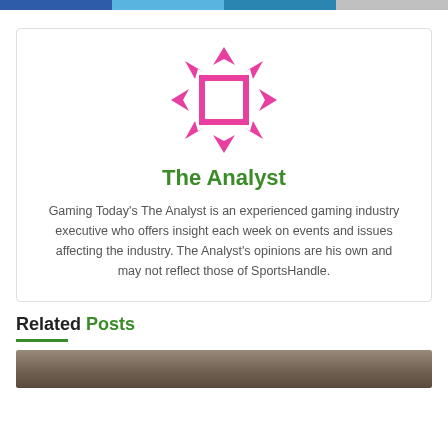[navigation bar with colored tabs]
[Figure (logo): Pink diamond/dice shaped logo for The Analyst]
The Analyst
Gaming Today's The Analyst is an experienced gaming industry executive who offers insight each week on events and issues affecting the industry. The Analyst's opinions are his own and may not reflect those of SportsHandle.
Related Posts
[Figure (photo): Partial photo strip at bottom of page]